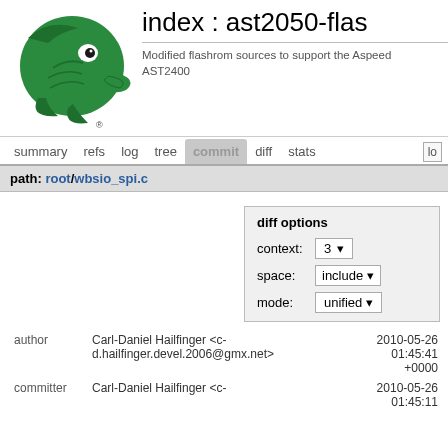[Figure (logo): Green eagle/hawk head logo facing right, Aspeed Technology logo]
index : ast2050-flas
Modified flashrom sources to support the Aspeed AST2400
summary   refs   log   tree   commit   diff   stats   lo
path: root/wbsio_spi.c
diff options
context: 3
space: include
mode: unified
author
Carl-Daniel Hailfinger <c-d.hailfinger.devel.2006@gmx.net>
2010-05-26 01:45:41 +0000
committer
Carl-Daniel Hailfinger <c-
01:45:11